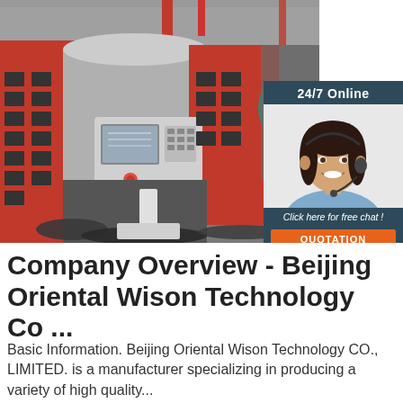[Figure (photo): CNC machining center / industrial lathe machine in a factory setting with red and grey housing, control panel with buttons and screen visible, metal chips scattered on the floor. Overlaid in the top-right corner is a customer service panel with '24/7 Online' text, photo of a female customer service agent wearing a headset, 'Click here for free chat!' text, and an orange 'QUOTATION' button.]
Company Overview - Beijing Oriental Wison Technology Co ...
Basic Information. Beijing Oriental Wison Technology CO., LIMITED. is a manufacturer specializing in producing a variety of high quality...